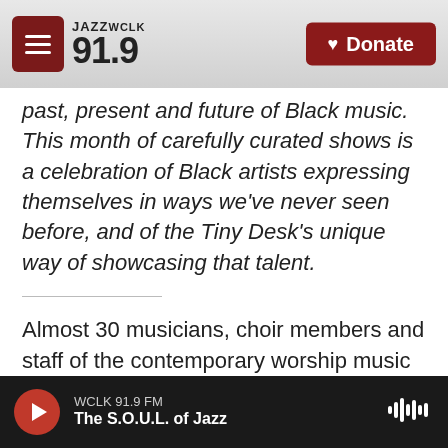JAZZ WCLK 91.9 | Donate
past, present and future of Black music. This month of carefully curated shows is a celebration of Black artists expressing themselves in ways we've never seen before, and of the Tiny Desk's unique way of showcasing that talent.
Almost 30 musicians, choir members and staff of the contemporary worship music collective Maverick City Music entered the NPR lobby and crowded the security desk to undergo COVID protocols. Even through the dull process of
WCLK 91.9 FM | The S.O.U.L. of Jazz